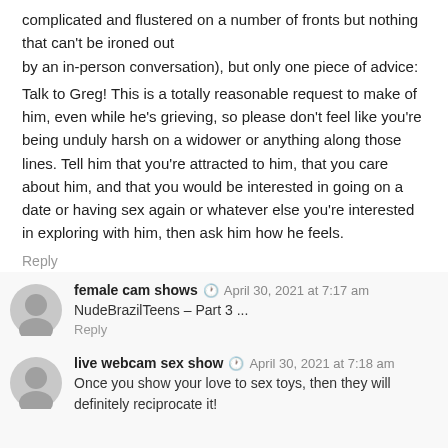complicated and flustered on a number of fronts but nothing that can't be ironed out by an in-person conversation), but only one piece of advice:
Talk to Greg! This is a totally reasonable request to make of him, even while he's grieving, so please don't feel like you're being unduly harsh on a widower or anything along those lines. Tell him that you're attracted to him, that you care about him, and that you would be interested in going on a date or having sex again or whatever else you're interested in exploring with him, then ask him how he feels.
Reply
female cam shows  April 30, 2021 at 7:17 am
NudeBrazilTeens – Part 3 ...
Reply
live webcam sex show  April 30, 2021 at 7:18 am
Once you show your love to sex toys, then they will definitely reciprocate it!